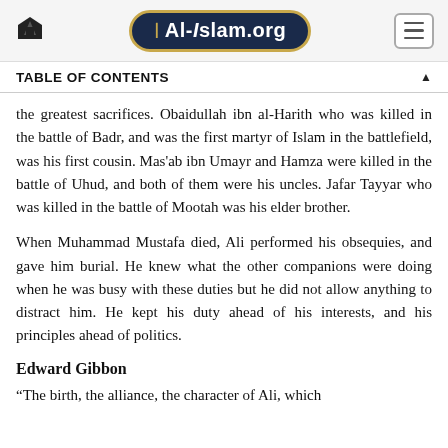Al-Islam.org
TABLE OF CONTENTS
the greatest sacrifices. Obaidullah ibn al-Harith who was killed in the battle of Badr, and was the first martyr of Islam in the battlefield, was his first cousin. Mas'ab ibn Umayr and Hamza were killed in the battle of Uhud, and both of them were his uncles. Jafar Tayyar who was killed in the battle of Mootah was his elder brother.
When Muhammad Mustafa died, Ali performed his obsequies, and gave him burial. He knew what the other companions were doing when he was busy with these duties but he did not allow anything to distract him. He kept his duty ahead of his interests, and his principles ahead of politics.
Edward Gibbon
“The birth, the alliance, the character of Ali, which